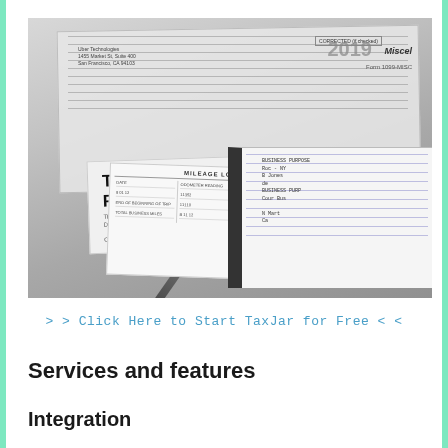[Figure (photo): Photograph of tax documents including a 'TAX STATEMENT FOR YEAR 2019' form, a 1099-MISC form showing Uber Technologies address (1455 Market St, Suite 400, San Francisco, CA 94103), a mileage log, a spiral-bound notebook with handwritten business notes, and a pen lying across the documents.]
>> Click Here to Start TaxJar for Free <<
Services and features
Integration